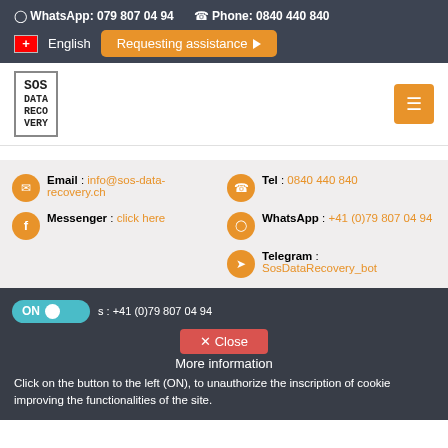WhatsApp: 079 807 04 94    Phone: 0840 440 840
English  Requesting assistance
[Figure (logo): SOS Data Recovery logo - text in bordered box]
Email : info@sos-data-recovery.ch
Tel : 0840 440 840
WhatsApp : +41 (0)79 807 04 94
Messenger : click here
Telegram : SosDataRecovery_bot
ON  s : +41 (0)79 807 04 94
✕ Close
More information
Click on the button to the left (ON), to unauthorize the inscription of cookie improving the functionalities of the site.